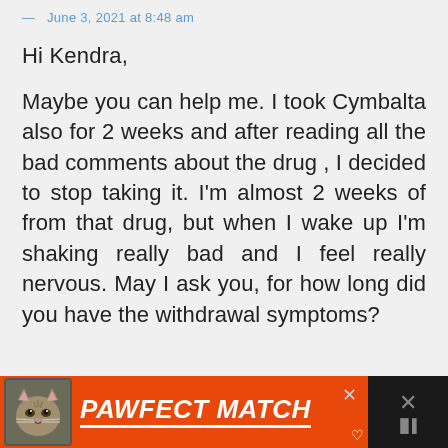June 3, 2021 at 8:48 am
Hi Kendra,
Maybe you can help me. I took Cymbalta also for 2 weeks and after reading all the bad comments about the drug , I decided to stop taking it. I'm almost 2 weeks of from that drug, but when I wake up I'm shaking really bad and I feel really nervous. May I ask you, for how long did you have the withdrawal symptoms?
[Figure (screenshot): PAWFECT MATCH advertisement banner with cat image on orange background]